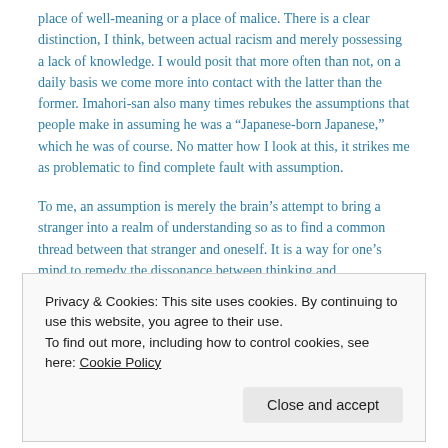place of well-meaning or a place of malice. There is a clear distinction, I think, between actual racism and merely possessing a lack of knowledge. I would posit that more often than not, on a daily basis we come more into contact with the latter than the former. Imahori-san also many times rebukes the assumptions that people make in assuming he was a “Japanese-born Japanese,” which he was of course. No matter how I look at this, it strikes me as problematic to find complete fault with assumption.
To me, an assumption is merely the brain’s attempt to bring a stranger into a realm of understanding so as to find a common thread between that stranger and oneself. It is a way for one’s mind to remedy the dissonance between thinking and understanding. Assumption is a natural human cognitive response to not knowing and through that assumption, inquiries can be made; thus, leading to communication as to the merits of said assumption and of course on to understanding one another. I think the
Privacy & Cookies: This site uses cookies. By continuing to use this website, you agree to their use.
To find out more, including how to control cookies, see here: Cookie Policy
Close and accept